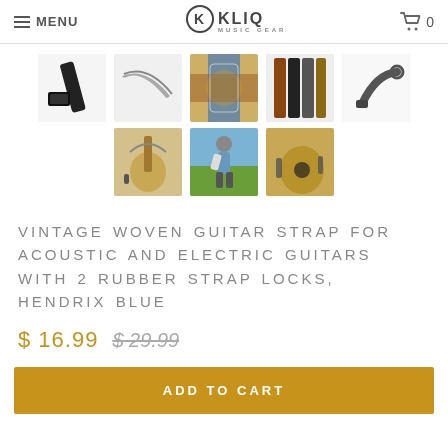MENU | KLIQ MUSIC GEAR | 0
[Figure (photo): Product thumbnail gallery showing guitar straps and accessories: 8 thumbnail images in two rows]
VINTAGE WOVEN GUITAR STRAP FOR ACOUSTIC AND ELECTRIC GUITARS WITH 2 RUBBER STRAP LOCKS, HENDRIX BLUE
$ 16.99  $ 29.99
ADD TO CART